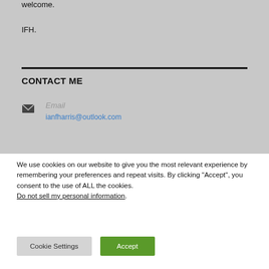welcome.
IFH.
CONTACT ME
Email
ianfharris@outlook.com
We use cookies on our website to give you the most relevant experience by remembering your preferences and repeat visits. By clicking “Accept”, you consent to the use of ALL the cookies. Do not sell my personal information.
Cookie Settings
Accept